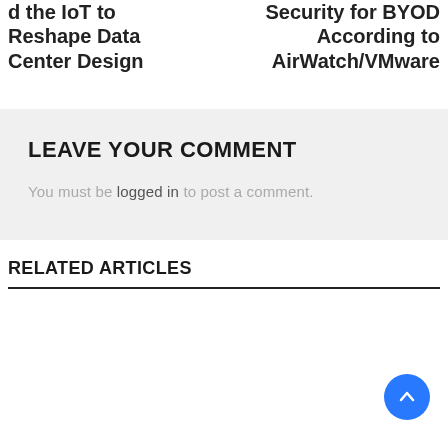d the IoT to Reshape Data Center Design
Security for BYOD According to AirWatch/VMware
LEAVE YOUR COMMENT
You must be logged in to post a comment.
RELATED ARTICLES